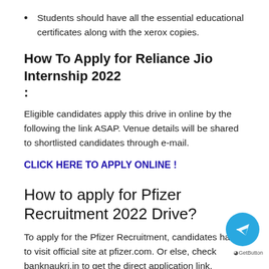Students should have all the essential educational certificates along with the xerox copies.
How To Apply for Reliance Jio Internship 2022 :
Eligible candidates apply this drive in online by the following the link ASAP. Venue details will be shared to shortlisted candidates through e-mail.
CLICK HERE TO APPLY ONLINE !
How to apply for Pfizer Recruitment 2022 Drive?
To apply for the Pfizer Recruitment, candidates have to visit official site at pfizer.com. Or else, check banknaukri.in to get the direct application link.